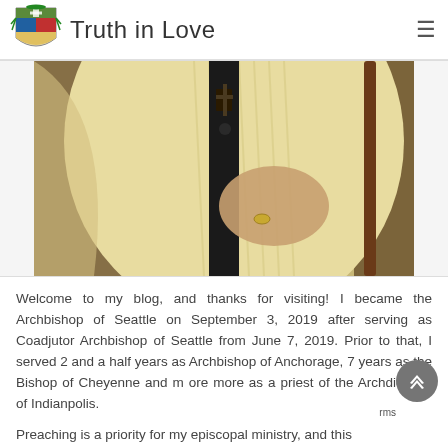Truth in Love
[Figure (photo): Close-up photo of a Catholic archbishop wearing white and gold vestments with a cross brooch, holding a staff, with a ring visible on his hand.]
Welcome to my blog, and thanks for visiting! I became the Archbishop of Seattle on September 3, 2019 after serving as Coadjutor Archbishop of Seattle from June 7, 2019. Prior to that, I served 2 and a half years as Archbishop of Anchorage, 7 years as the Bishop of Cheyenne and more as a priest of the Archdiocese of Indianpolis.
Preaching is a priority for my episcopal ministry, and this